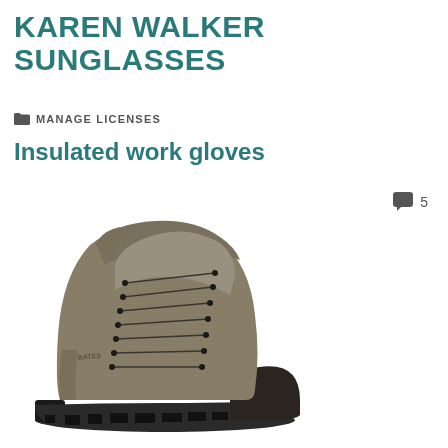KAREN WALKER SUNGLASSES
MANAGE LICENSES
Insulated work gloves
5
[Figure (photo): A tan/olive colored lace-up hiking boot with black rubber sole and toe cap, shown on a white background. The boot appears to be a high-ankle style work/hiking boot.]